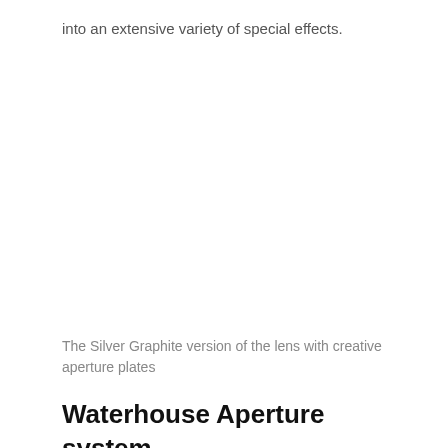into an extensive variety of special effects.
The Silver Graphite version of the lens with creative aperture plates
Waterhouse Aperture system